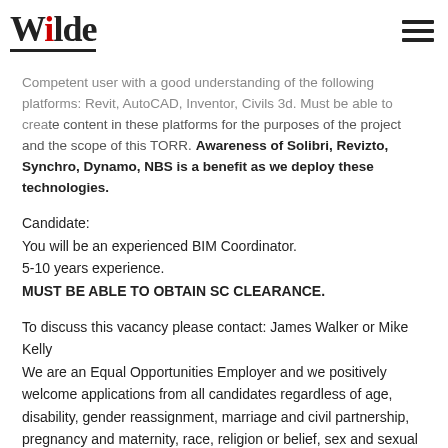Wilde
of collaboration.
Competent user with a good understanding of the following platforms: Revit, AutoCAD, Inventor, Civils 3d. Must be able to create content in these platforms for the purposes of the project and the scope of this TORR. Awareness of Solibri, Revizto, Synchro, Dynamo, NBS is a benefit as we deploy these technologies.
Candidate:
You will be an experienced BIM Coordinator.
5-10 years experience.
MUST BE ABLE TO OBTAIN SC CLEARANCE.
To discuss this vacancy please contact: James Walker or Mike Kelly
We are an Equal Opportunities Employer and we positively welcome applications from all candidates regardless of age, disability, gender reassignment, marriage and civil partnership, pregnancy and maternity, race, religion or belief, sex and sexual orientation.
Wilde Recruitment Ltd operates as both an employment business and agency. If your application is for a position based in the UK or EU, under European Employment Law you MUST be eligible to live and work there.